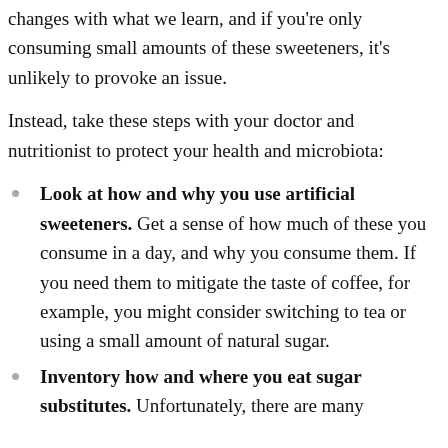changes with what we learn, and if you're only consuming small amounts of these sweeteners, it's unlikely to provoke an issue.
Instead, take these steps with your doctor and nutritionist to protect your health and microbiota:
Look at how and why you use artificial sweeteners. Get a sense of how much of these you consume in a day, and why you consume them. If you need them to mitigate the taste of coffee, for example, you might consider switching to tea or using a small amount of natural sugar.
Inventory how and where you eat sugar substitutes. Unfortunately, there are many